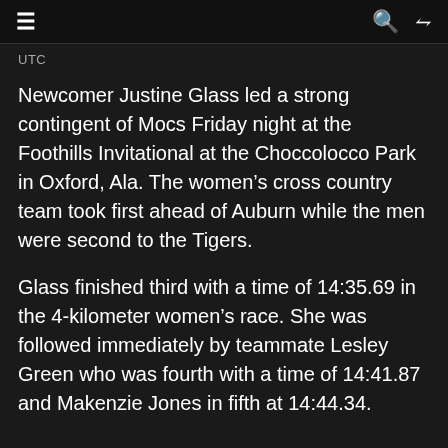≡  Q  ⇌
UTC
Newcomer Justine Glass led a strong contingent of Mocs Friday night at the Foothills Invitational at the Choccolocco Park in Oxford, Ala. The women's cross country team took first ahead of Auburn while the men were second to the Tigers.
Glass finished third with a time of 14:35.69 in the 4-kilometer women's race. She was followed immediately by teammate Lesley Green who was fourth with a time of 14:41.87 and Makenzie Jones in fifth at 14:44.34.